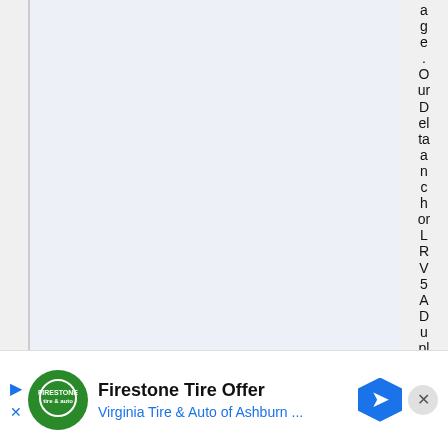age.OurDeltaanchorLRV5ADuplexismade in H
[Figure (other): Advertisement banner for Firestone Tire Offer - Virginia Tire & Auto of Ashburn, with logo, navigation arrow icon, and close button]